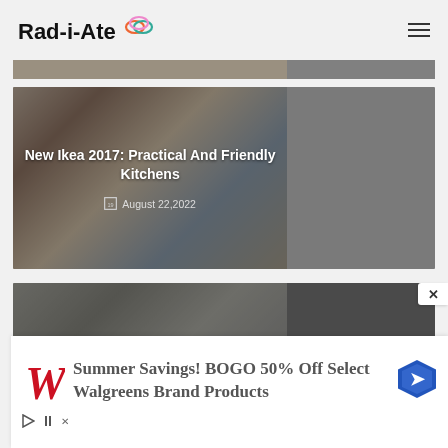Rad-i-Ate
[Figure (photo): Partial top of a card image, cropped at top of visible area]
[Figure (photo): People gathered around a kitchen table, card with title overlay. Title: New Ikea 2017: Practical And Friendly Kitchens, Date: August 22,2022]
[Figure (photo): Interior architecture photo with title overlay: Architect's Advice: Separate Spaces Without Dividing Them]
[Figure (infographic): Walgreens advertisement banner: Summer Savings! BOGO 50% Off Select Walgreens Brand Products]